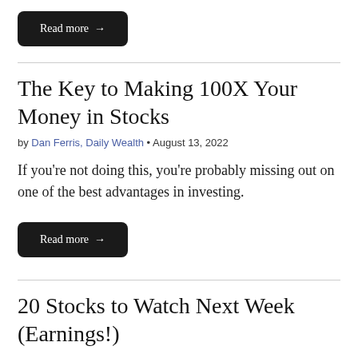Read more →
The Key to Making 100X Your Money in Stocks
by Dan Ferris, Daily Wealth • August 13, 2022
If you're not doing this, you're probably missing out on one of the best advantages in investing.
Read more →
20 Stocks to Watch Next Week (Earnings!)